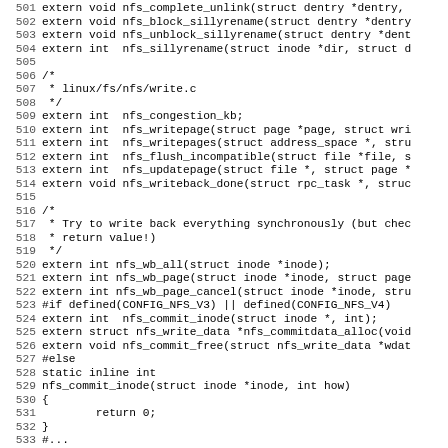Source code listing from linux/fs/nfs/ header file, lines 501-532+, showing C function declarations including nfs_complete_unlink, nfs_block_sillyrename, nfs_unblock_sillyrename, nfs_sillyrename, nfs_congestion_kb, nfs_writepage, nfs_writepages, nfs_flush_incompatible, nfs_updatepage, nfs_writeback_done, nfs_wb_all, nfs_wb_page, nfs_wb_page_cancel, nfs_commit_inode, nfs_commitdata_alloc, nfs_commit_free, and conditional compilation blocks.